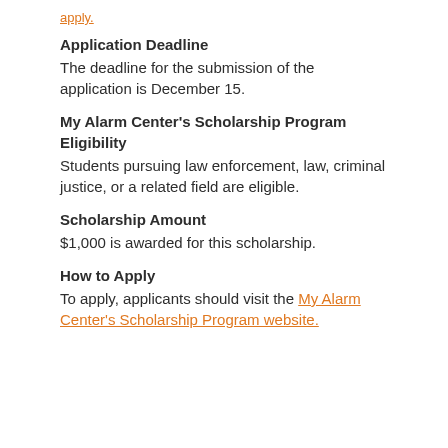apply.
Application Deadline
The deadline for the submission of the application is December 15.
My Alarm Center's Scholarship Program
Eligibility
Students pursuing law enforcement, law, criminal justice, or a related field are eligible.
Scholarship Amount
$1,000 is awarded for this scholarship.
How to Apply
To apply, applicants should visit the My Alarm Center's Scholarship Program website.